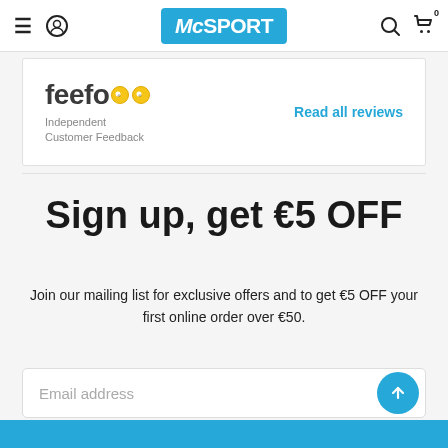McSPORT navigation header with hamburger menu, user icon, logo, search icon, cart icon
[Figure (logo): Feefo logo with two yellow circular eyes and text 'Independent Customer Feedback'. Link: 'Read all reviews' in blue.]
Sign up, get €5 OFF
Join our mailing list for exclusive offers and to get €5 OFF your first online order over €50.
Email address